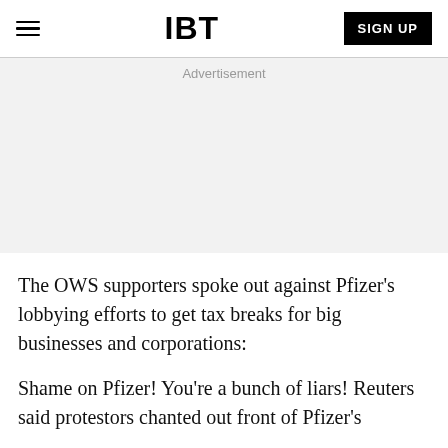IBT
Advertisement
The OWS supporters spoke out against Pfizer's lobbying efforts to get tax breaks for big businesses and corporations:
Shame on Pfizer! You're a bunch of liars! Reuters said protestors chanted out front of Pfizer's